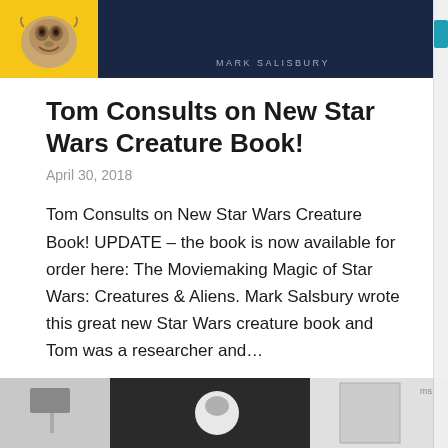[Figure (photo): Top portion of a book cover showing a creature face on yellow background on the left and dark navy blue background on the right with text 'MARK SALISBURY' in small caps]
Tom Consults on New Star Wars Creature Book!
April 30, 2018
Tom Consults on New Star Wars Creature Book! UPDATE – the book is now available for order here: The Moviemaking Magic of Star Wars: Creatures & Aliens. Mark Salsbury wrote this great new Star Wars creature book and Tom was a researcher and...
Read More
[Figure (photo): Bottom partial image showing black and white scene with figures/objects visible at the bottom of the page]